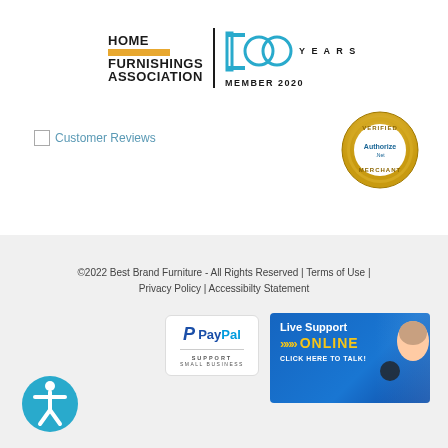[Figure (logo): Home Furnishings Association 100 Years Member 2020 logo]
[Figure (logo): Customer Reviews broken image placeholder with link text]
[Figure (logo): Authorize.Net Verified Merchant badge - circular gold seal]
©2022 Best Brand Furniture - All Rights Reserved | Terms of Use | Privacy Policy | Accessibilty Statement
[Figure (logo): PayPal Support Small Business logo badge]
[Figure (illustration): Live Support Online - Click Here To Talk banner with woman wearing headset]
[Figure (logo): Accessibility icon - person in circle (wheelchair accessible symbol)]